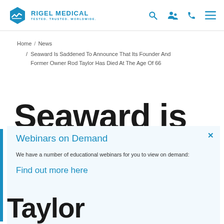Rigel Medical — Tested. Trusted. Worldwide.
Home / News / Seaward Is Saddened To Announce That Its Founder And Former Owner Rod Taylor Has Died At The Age Of 66
Seaward is
Webinars on Demand
We have a number of educational webinars for you to view on demand:
Find out more here
owner Rod Taylor